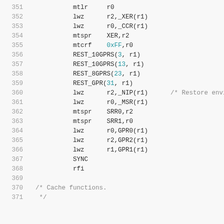Assembly code listing lines 351-371 showing PowerPC assembly instructions including mtlr, lwz, mtspr, mtcrf, REST_10GPRS, REST_8GPRS, REST_GPR macros, followed by restore environment and cache functions comment.